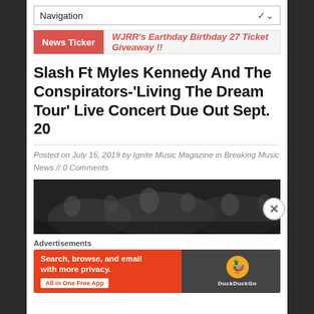Navigation
WJRR's Earthday Birthday 27 Ticket Giveaway !!
Slash Ft Myles Kennedy And The Conspirators-‘Living The Dream Tour’ Live Concert Due Out Sept. 20
Posted on July 15, 2019 by Ignite Music Magazine in Breaking Music News // 0 Comments
[Figure (photo): Black and white crowd photo at a rock concert]
Advertisements
[Figure (infographic): DuckDuckGo advertisement: Search, browse, and email with more privacy. All in One Free App]